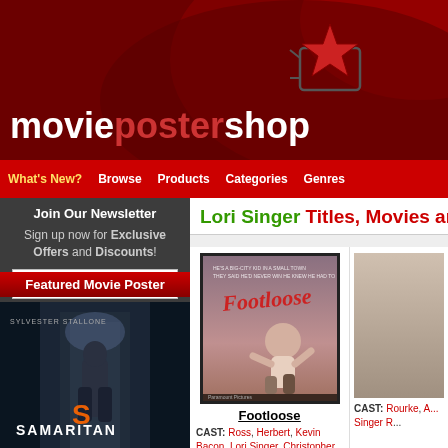[Figure (logo): Movie Poster Shop logo with red star icon on dark red background]
moviepostershop
What's New? Browse Products Categories Genres
Join Our Newsletter
Sign up now for Exclusive Offers and Discounts!
Sign up for 15% Off →
Featured Movie Poster
[Figure (photo): Samaritan movie poster featuring Sylvester Stallone]
Lori Singer Titles, Movies and Post...
[Figure (photo): Footloose movie poster]
Footloose
CAST: Ross, Herbert, Kevin Bacon, Lori Singer, Christopher Penn, John Lithgow,
CAST: Rourke, A... Singer R...